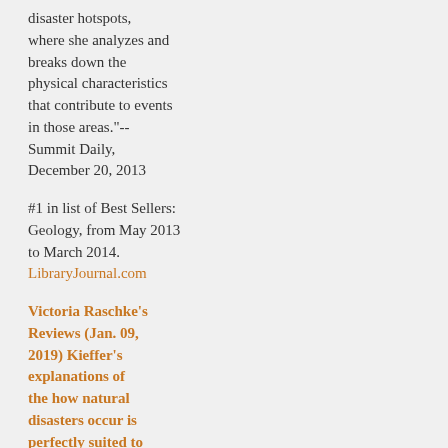disaster hotspots, where she analyzes and breaks down the physical characteristics that contribute to events in those areas."-- Summit Daily, December 20, 2013
#1 in list of Best Sellers: Geology, from May 2013 to March 2014. LibraryJournal.com
Victoria Raschke's Reviews (Jan. 09, 2019) Kieffer's explanations of the how natural disasters occur is perfectly suited to the interested layperson. The section on rogue waves was worth the price of admission in that it explains something that always seemed kind of supernatural. If you have any...